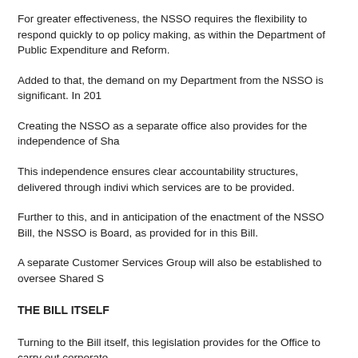For greater effectiveness, the NSSO requires the flexibility to respond quickly to op policy making, as within the Department of Public Expenditure and Reform.
Added to that, the demand on my Department from the NSSO is significant. In 201
Creating the NSSO as a separate office also provides for the independence of Sha
This independence ensures clear accountability structures, delivered through indivi which services are to be provided.
Further to this, and in anticipation of the enactment of the NSSO Bill, the NSSO is Board, as provided for in this Bill.
A separate Customer Services Group will also be established to oversee Shared S
THE BILL ITSELF
Turning to the Bill itself, this legislation provides for the Office to carry out corporate